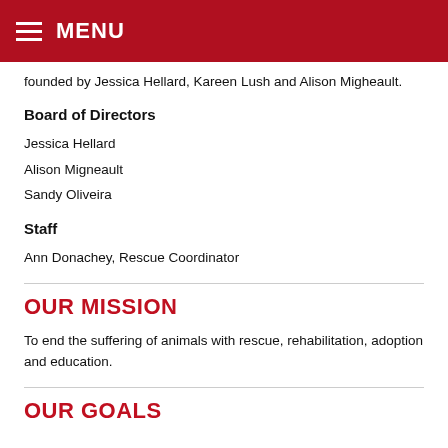MENU
founded by Jessica Hellard, Kareen Lush and Alison Migheault.
Board of Directors
Jessica Hellard
Alison Migneault
Sandy Oliveira
Staff
Ann Donachey, Rescue Coordinator
OUR MISSION
To end the suffering of animals with rescue, rehabilitation, adoption and education.
OUR GOALS